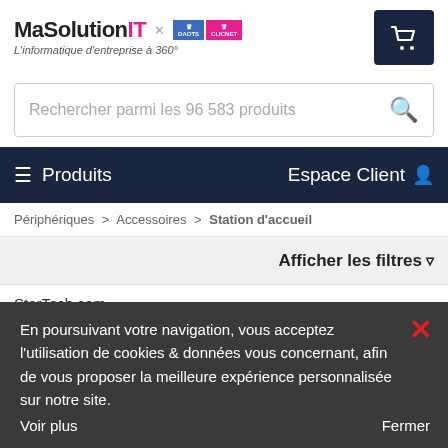MaSolutionIT × [logo badges] L'informatique d'entreprise à 360°
Rechercher parmi les 96 583 produits
≡ Produits   Espace Client
Périphériques > Accessoires > Station d'accueil
Afficher les filtres
StarTech.com
En poursuivant votre navigation, vous acceptez l'utilisation de cookies & données vous concernant, afin de vous proposer la meilleure expérience personnalisée sur notre site. Voir plus    Fermer